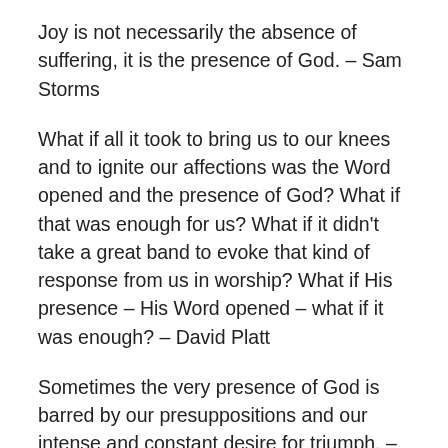Joy is not necessarily the absence of suffering, it is the presence of God. – Sam Storms
What if all it took to bring us to our knees and to ignite our affections was the Word opened and the presence of God? What if that was enough for us? What if it didn't take a great band to evoke that kind of response from us in worship? What if His presence – His Word opened – what if it was enough? – David Platt
Sometimes the very presence of God is barred by our presuppositions and our intense and constant desire for triumph. – Ravi Zacharias
If you find a reluctanc to go into the presence of God, there may be unconfessed, unrepented sin in your life. Part of your quiet time is to get your heart clean and pure. Each of us needs to take ourselves by the pane of our